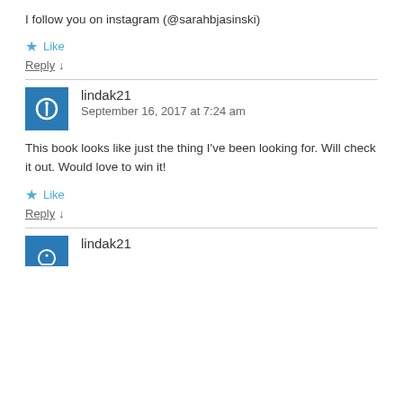I follow you on instagram (@sarahbjasinski)
★ Like
Reply ↓
lindak21
September 16, 2017 at 7:24 am
This book looks like just the thing I've been looking for. Will check it out. Would love to win it!
★ Like
Reply ↓
lindak21